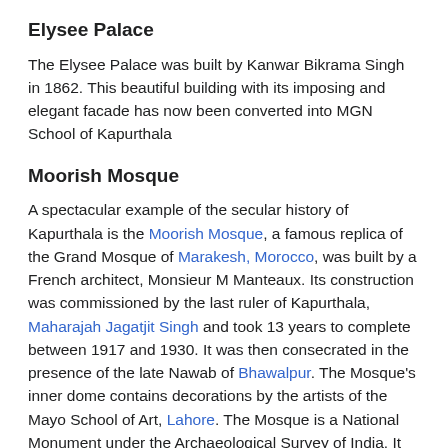Elysee Palace
The Elysee Palace was built by Kanwar Bikrama Singh in 1862. This beautiful building with its imposing and elegant facade has now been converted into MGN School of Kapurthala
Moorish Mosque
A spectacular example of the secular history of Kapurthala is the Moorish Mosque, a famous replica of the Grand Mosque of Marakesh, Morocco, was built by a French architect, Monsieur M Manteaux. Its construction was commissioned by the last ruler of Kapurthala, Maharajah Jagatjit Singh and took 13 years to complete between 1917 and 1930. It was then consecrated in the presence of the late Nawab of Bhawalpur. The Mosque's inner dome contains decorations by the artists of the Mayo School of Art, Lahore. The Mosque is a National Monument under the Archaeological Survey of India. It was one of the monumental creations in the State during the premiership of late Diwan Sir Abdul Hamid Kt., CIE, OBE. It was his keen interest with Maharaja's blessings that the mosque was completed. Its wooden model lay at